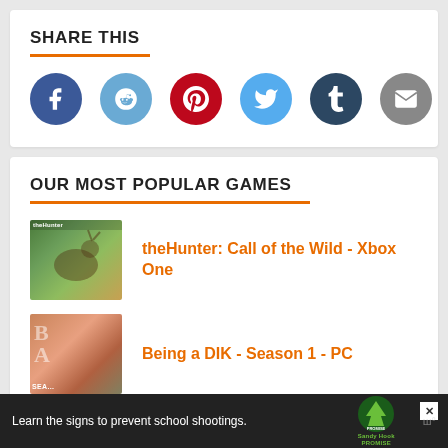SHARE THIS
[Figure (infographic): Social sharing icons: Facebook (dark blue), Reddit (light blue), Pinterest (dark red), Twitter (light blue), Tumblr (dark navy), Email (gray)]
OUR MOST POPULAR GAMES
[Figure (photo): theHunter game cover thumbnail - hunting scene with deer]
theHunter: Call of the Wild - Xbox One
[Figure (photo): Being a DIK Season 1 game cover thumbnail]
Being a DIK - Season 1 - PC
[Figure (photo): Third game thumbnail - dark image]
Learn the signs to prevent school shootings.
[Figure (logo): Sandy Hook Promise logo - green tree]